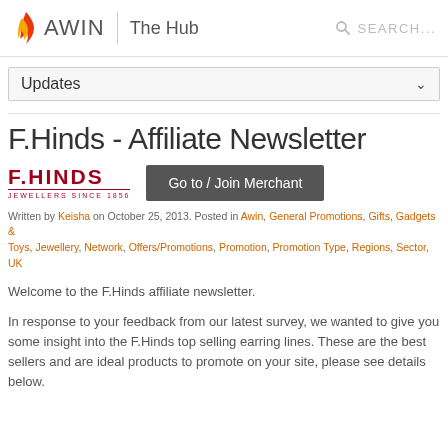AWIN | The Hub — SEARCH...
F.Hinds - Affiliate Newsletter
Written by Keisha on October 25, 2013. Posted in Awin, General Promotions, Gifts, Gadgets & Toys, Jewellery, Network, Offers/Promotions, Promotion, Promotion Type, Regions, Sector, UK
Welcome to the F.Hinds affiliate newsletter.
In response to your feedback from our latest survey, we wanted to give you some insight into the F.Hinds top selling earring lines. These are the best sellers and are ideal products to promote on your site, please see details below.